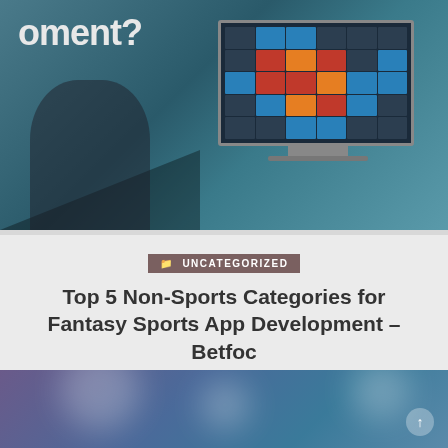[Figure (screenshot): Top portion of a blog page showing a dark teal/blue banner image with partial text 'opment?' and a monitor displaying a colorful data grid/heatmap]
UNCATEGORIZED
Top 5 Non-Sports Categories for Fantasy Sports App Development – Betfoc
WEBMASTER • AUGUST 25, 2022 • LEAVE A COMMENT
The global Fantasy sports market is growing exponentially and will continue to be. It is expected to reach 1 billion USD by 2028. There are numerous reasons…
CONTINUE READING ▸
[Figure (photo): Bottom portion showing a dark blue/purple bokeh night scene image, partially visible]